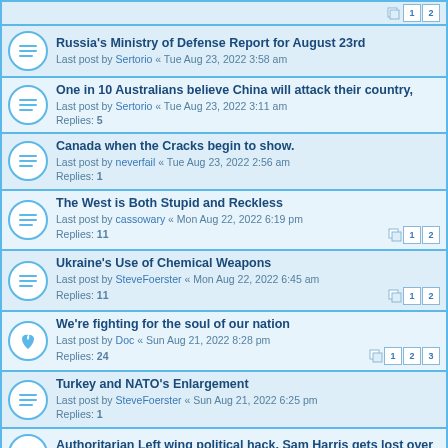Russia's Ministry of Defense Report for August 23rd - Last post by Sertorio « Tue Aug 23, 2022 3:58 am
One in 10 Australians believe China will attack their country, - Last post by Sertorio « Tue Aug 23, 2022 3:11 am - Replies: 5
Canada when the Cracks begin to show. - Last post by neverfail « Tue Aug 23, 2022 2:56 am - Replies: 1
The West is Both Stupid and Reckless - Last post by cassowary « Mon Aug 22, 2022 6:19 pm - Replies: 11
Ukraine's Use of Chemical Weapons - Last post by SteveFoerster « Mon Aug 22, 2022 6:45 am - Replies: 11
We're fighting for the soul of our nation - Last post by Doc « Sun Aug 21, 2022 8:28 pm - Replies: 24
Turkey and NATO's Enlargement - Last post by SteveFoerster « Sun Aug 21, 2022 6:25 pm - Replies: 1
Authoritarian Left wing political hack, Sam Harris gets lost over the meaning of words.